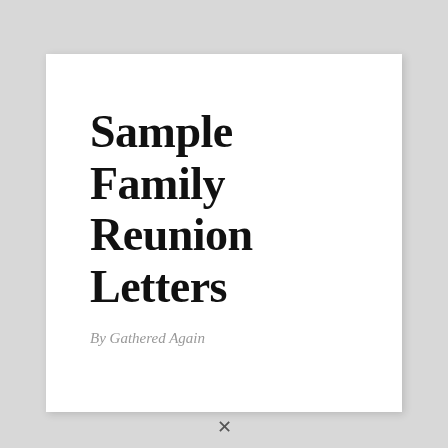Sample Family Reunion Letters
By Gathered Again